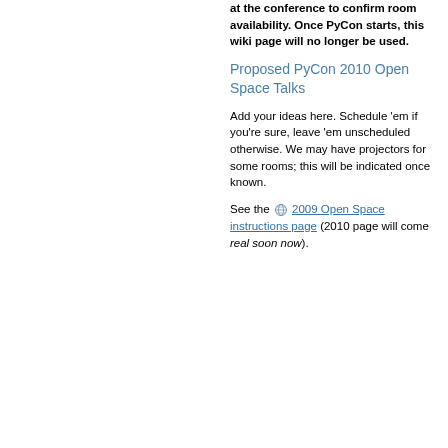at the conference to confirm room availability. Once PyCon starts, this wiki page will no longer be used.
Proposed PyCon 2010 Open Space Talks
Add your ideas here. Schedule 'em if you're sure, leave 'em unscheduled otherwise. We may have projectors for some rooms; this will be indicated once known.
See the 2009 Open Space instructions page (2010 page will come real soon now).